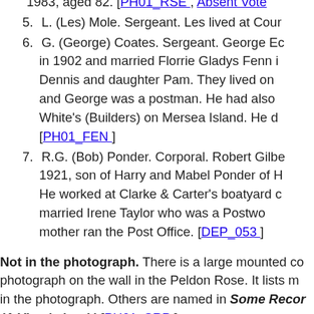1983, aged 82. [PH01_RSE , Absent Vote
5. L. (Les) Mole. Sergeant. Les lived at Cour
6. G. (George) Coates. Sergeant. George Ec in 1902 and married Florrie Gladys Fenn i Dennis and daughter Pam. They lived on and George was a postman. He had also White's (Builders) on Mersea Island. He d [PH01_FEN ]
7. R.G. (Bob) Ponder. Corporal. Robert Gilbe 1921, son of Harry and Mabel Ponder of H He worked at Clarke & Carter's boatyard c married Irene Taylor who was a Postwo mother ran the Post Office. [DEP_053 ]
Not in the photograph. There is a large mounted co photograph on the wall in the Peldon Rose. It lists m in the photograph. Others are named in Some Recor (A Vicar's book) [PH01_SRP ]
1. H.E. Bass. Lance Corporal.
2. A.B. Balls. Private.
3. F.R. Balls. Private. Ernest Balls was born